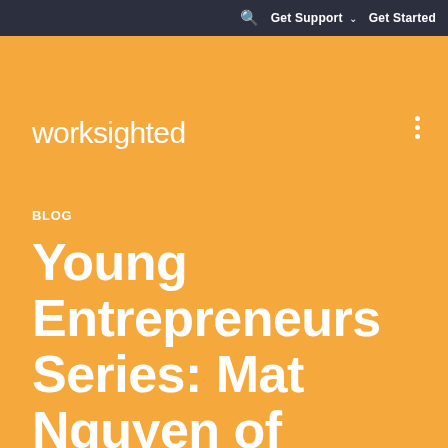🔍  Get Support ∨  Get Started
[Figure (logo): Worksighted logo in white text on orange background]
BLOG
Young Entrepreneurs Series: Mat Nguyen of Worksighted